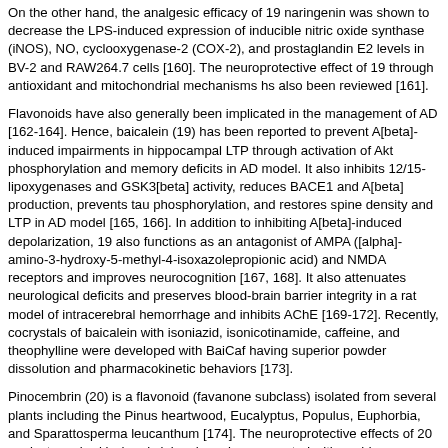On the other hand, the analgesic efficacy of 19 naringenin was shown to decrease the LPS-induced expression of inducible nitric oxide synthase (iNOS), NO, cyclooxygenase-2 (COX-2), and prostaglandin E2 levels in BV-2 and RAW264.7 cells [160]. The neuroprotective effect of 19 through antioxidant and mitochondrial mechanisms hs also been reviewed [161].
Flavonoids have also generally been implicated in the management of AD [162-164]. Hence, baicalein (19) has been reported to prevent A[beta]-induced impairments in hippocampal LTP through activation of Akt phosphorylation and memory deficits in AD model. It also inhibits 12/15-lipoxygenases and GSK3[beta] activity, reduces BACE1 and A[beta] production, prevents tau phosphorylation, and restores spine density and LTP in AD model [165, 166]. In addition to inhibiting A[beta]-induced depolarization, 19 also functions as an antagonist of AMPA ([alpha]-amino-3-hydroxy-5-methyl-4-isoxazolepropionic acid) and NMDA receptors and improves neurocognition [167, 168]. It also attenuates neurological deficits and preserves blood-brain barrier integrity in a rat model of intracerebral hemorrhage and inhibits AChE [169-172]. Recently, cocrystals of baicalein with isoniazid, isonicotinamide, caffeine, and theophylline were developed with BaiCaf having superior powder dissolution and pharmacokinetic behaviors [173].
Pinocembrin (20) is a flavonoid (favanone subclass) isolated from several plants including the Pinus heartwood, Eucalyptus, Populus, Euphorbia, and Sparattosperma leucanthum [174]. The neuroprotective effects of 20 against cerebral ischemic injury have been reported with a wide therapeutic window that has been shown to be attributed to its antiexcitotoxic effects [175]. It has been shown that 20 alleviates cerebral ischemic injury induced by occlusion of the middle cerebral artery in rats [176,177] as well as enhanced cognition by protecting cerebral mitochondria structure and function against chronic cerebral hypoperfusion